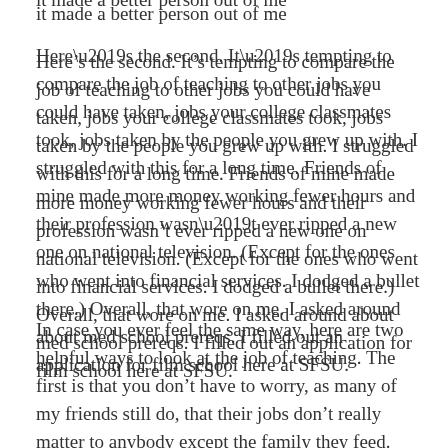it made a better person out of me
Here’s the second. It’s tempting to compare the job of teaching to other jobs you could have taken, jobs your college classmates took, jobs taken by the people you grew up with. I struggled with this for a long time. Friends of mine made more money working fewer hours and their profession wasn’t ever ripped a new one on national television. (Except for the ones who went into financial services. I dodged a bullet there.) Overall, that wore on me. I asked around about med school prereqs. I filled out an application for film school here at SFSU.
In case you ever feel the same way, here are two helpful ways to look at the job of teaching. The first is that you don’t have to worry, as many of my friends still do, that their jobs don’t really matter to anybody except the family they feed. You don’t have to worry that you’re insignificant to other people.